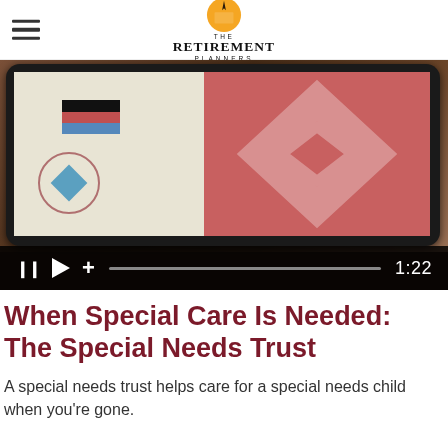The Retirement Planners
[Figure (screenshot): Video thumbnail showing hands holding a tablet with a colorful app screen. Video controls bar shows pause, play, plus icons with a progress bar and timestamp 1:22.]
When Special Care Is Needed: The Special Needs Trust
A special needs trust helps care for a special needs child when you're gone.